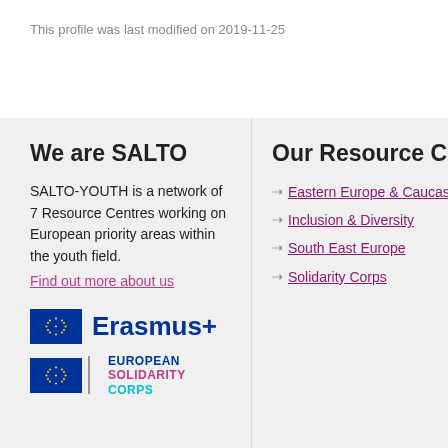This profile was last modified on 2019-11-25
We are SALTO
SALTO-YOUTH is a network of 7 Resource Centres working on European priority areas within the youth field.
Find out more about us
[Figure (logo): Erasmus+ logo with EU flag and blue text]
[Figure (logo): European Solidarity Corps logo with EU flag, blue, pink and cyan text]
Our Resource Cent…
Eastern Europe & Caucas…
Inclusion & Diversity
South East Europe
Solidarity Corps